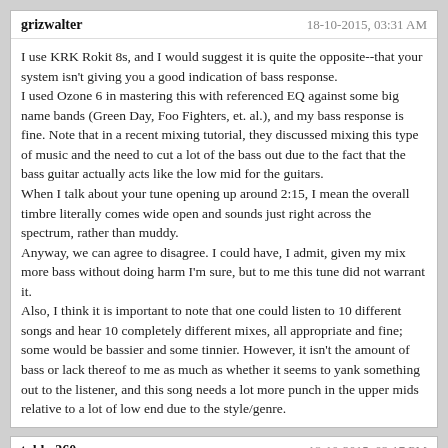grizwalter | 18-10-2015, 03:31 AM
I use KRK Rokit 8s, and I would suggest it is quite the opposite--that your system isn't giving you a good indication of bass response.
I used Ozone 6 in mastering this with referenced EQ against some big name bands (Green Day, Foo Fighters, et. al.), and my bass response is fine. Note that in a recent mixing tutorial, they discussed mixing this type of music and the need to cut a lot of the bass out due to the fact that the bass guitar actually acts like the low mid for the guitars.
When I talk about your tune opening up around 2:15, I mean the overall timbre literally comes wide open and sounds just right across the spectrum, rather than muddy.
Anyway, we can agree to disagree. I could have, I admit, given my mix more bass without doing harm I'm sure, but to me this tune did not warrant it.
Also, I think it is important to note that one could listen to 10 different songs and hear 10 completely different mixes, all appropriate and fine; some would be bassier and some tinnier. However, it isn't the amount of bass or lack thereof to me as much as whether it seems to yank something out to the listener, and this song needs a lot more punch in the upper mids relative to a lot of low end due to the style/genre.
takka360 | 18-10-2015, 03:17 PM